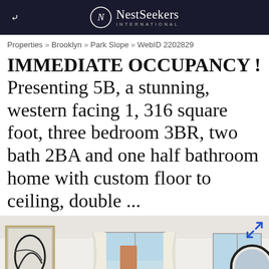NestSeekers INTERNATIONAL
Properties » Brooklyn » Park Slope » WebID 2202829
IMMEDIATE OCCUPANCY !
Presenting 5B, a stunning, western facing 1, 316 square foot, three bedroom 3BR, two bath 2BA and one half bathroom home with custom floor to ceiling, double ...
[Figure (photo): Interior photo of a bright apartment room with large windows, white walls, curtains, abstract wall art, a round mirror, and a city view with a brick building outside.]